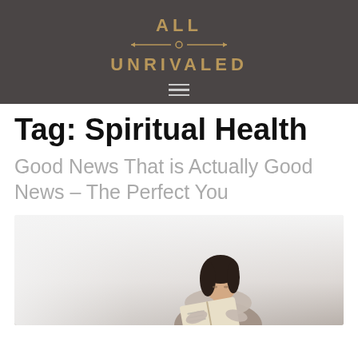ALL UNRIVALED
Tag: Spiritual Health
Good News That is Actually Good News – The Perfect You
[Figure (photo): A young woman with dark hair reading a book, photographed in soft natural light against a light background.]